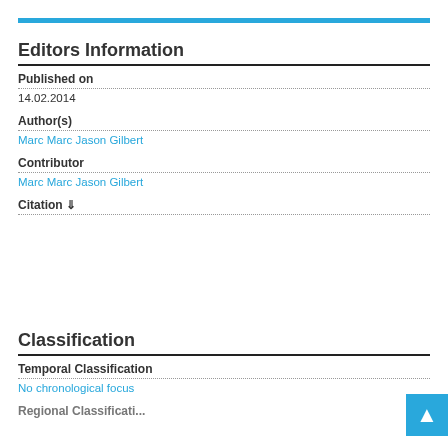Editors Information
Published on
14.02.2014
Author(s)
Marc Marc Jason Gilbert
Contributor
Marc Marc Jason Gilbert
Citation ⇓
Classification
Temporal Classification
No chronological focus